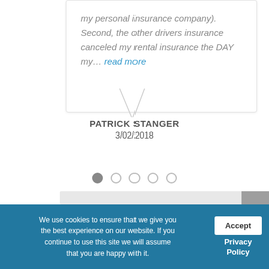my personal insurance company). Second, the other drivers insurance canceled my rental insurance the DAY my… read more
PATRICK STANGER
3/02/2018
[Figure (other): Pagination dots: 5 dots, first one filled/active, rest are outline circles]
Request a Free
We use cookies to ensure that we give you the best experience on our website. If you continue to use this site we will assume that you are happy with it.
Accept
Privacy Policy